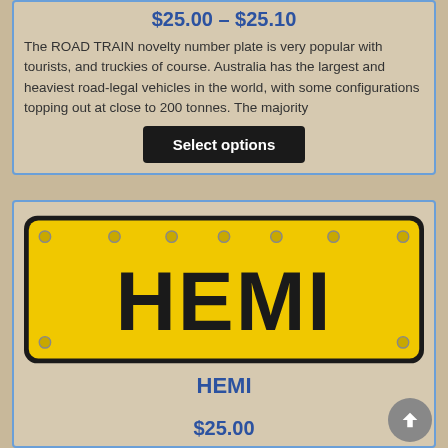$25.00 – $25.10
The ROAD TRAIN novelty number plate is very popular with tourists, and truckies of course. Australia has the largest and heaviest road-legal vehicles in the world, with some configurations topping out at close to 200 tonnes. The majority
Select options
[Figure (photo): Yellow novelty number plate reading HEMI in large black bold letters on a yellow background with rounded corners and bolts at corners]
HEMI
$25.00
The HEMI novelty plate is one of many name plates and signs